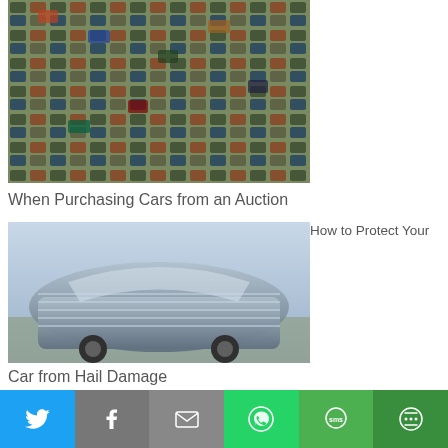[Figure (photo): Aerial view of a large parking lot filled with many cars, resembling an auto auction lot]
When Purchasing Cars from an Auction
[Figure (photo): A car covered in plastic wrap or bubble wrap as hail protection]
How to Protect Your
Car from Hail Damage
[Figure (photo): A teenager or child handling a glass jar, related to saving money]
How Your Teen Can
[Figure (infographic): Social media share bar with Twitter, Facebook, Email, WhatsApp, SMS, and More buttons]